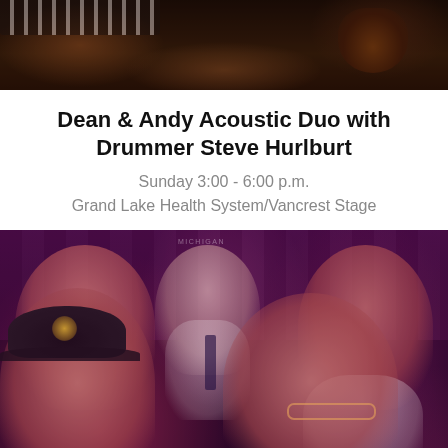[Figure (photo): Top portion of musicians performing on stage, showing keyboard and guitar instruments with dark background.]
Dean & Andy Acoustic Duo with Drummer Steve Hurlburt
Sunday 3:00 - 6:00 p.m.
Grand Lake Health System/Vancrest Stage
[Figure (photo): Photo of three band members in a purple/magenta toned concert venue setting. Four people visible: a large man smiling in the background, a drummer in white shirt and tie in the middle background, a man with beard on the right background, a man with black cap and star logo in the front left, and a man with glasses in the front right.]